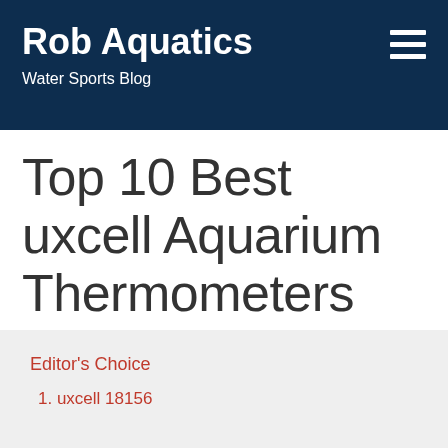Rob Aquatics
Water Sports Blog
Top 10 Best uxcell Aquarium Thermometers
Editor's Choice
1. uxcell 18156